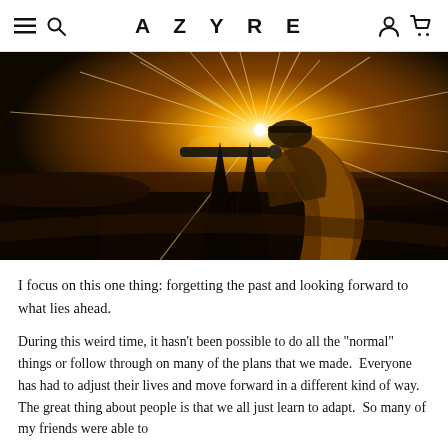AZYRE
[Figure (photo): Woman with long blonde hair viewed from behind, looking through a rifle scope on a tripod, with a dramatic sunburst over a wide open landscape at golden hour.]
I focus on this one thing: forgetting the past and looking forward to what lies ahead.
During this weird time, it hasn't been possible to do all the "normal" things or follow through on many of the plans that we made.  Everyone has had to adjust their lives and move forward in a different kind of way.  The great thing about people is that we all just learn to adapt.  So many of my friends were able to